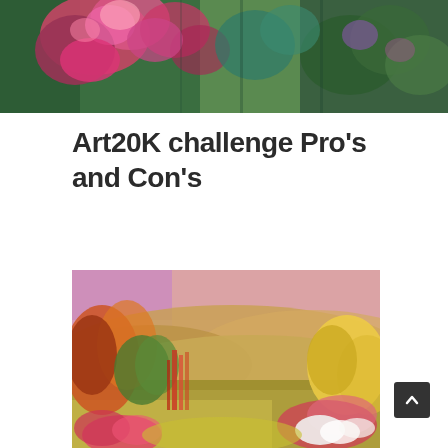[Figure (photo): Painting of colorful flowers — pink, red, and fuchsia blooms with lush green foliage, impressionist style, shown as a wide horizontal banner image at the top of the page.]
Art20K challenge Pro's and Con's
[Figure (photo): Impressionist landscape painting showing rolling hills, trees with autumn colors (red, yellow, green), a pink/lavender sky, and flowering shrubs in the foreground.]